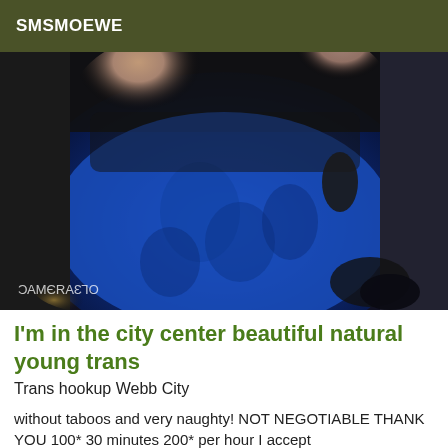SMSMOEWE
[Figure (photo): Close-up photo of a person wearing a blue and black lace lingerie/corset top. The image shows the torso area. A watermark reading 'ОГЗАЯЭМАС' (mirrored text) appears in the lower right corner.]
I'm in the city center beautiful natural young trans
Trans hookup Webb City
without taboos and very naughty! NOT NEGOTIABLE THANK YOU 100* 30 minutes 200* per hour I accept